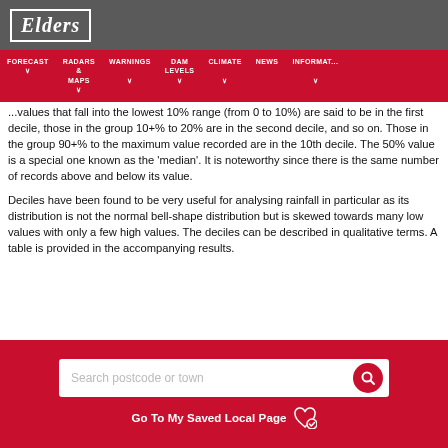Elders
FORECAST  RADARS & MAPS  WARNINGS  DAM LEVELS  CLIMATE  NEWS  INFORMATION
...values that fall into the lowest 10% range (from 0 to 10%) are said to be in the first decile, those in the group 10+% to 20% are in the second decile, and so on. Those in the group 90+% to the maximum value recorded are in the 10th decile. The 50% value is a special one known as the 'median'. It is noteworthy since there is the same number of records above and below its value.
Deciles have been found to be very useful for analysing rainfall in particular as its distribution is not the normal bell-shape distribution but is skewed towards many low values with only a few high values. The deciles can be described in qualitative terms. A table is provided in the accompanying results.
Search postcode or town
Go To My Saved Local Page